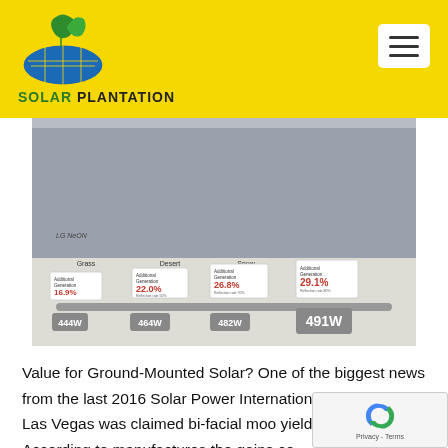[Figure (logo): Solar Plantation logo — circular solar panel / leaf icon above text reading SOLAR PLANTATION on a yellow background header bar]
[Figure (photo): Photo of LG NeON bifacial solar panel display at trade show showing additional generation percentages for different surface types: Grass 16.9%, Desert 22.0%, Snow 26.8%, White Paint 29.1%, with watt ratings 444W, 464W, 482W, 491W on the scale bar]
Value for Ground-Mounted Solar? One of the biggest news from the last 2016 Solar Power International trade-show in Las Vegas was claimed bi-facial moo yield gains. According to manufactures the gains co